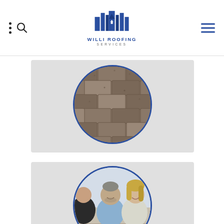Willi Roofing Services – navigation header with logo, search, menu icons
[Figure (photo): Circular photo of roof shingles close-up, set in a light gray card]
[Figure (photo): Circular photo of a smiling couple meeting with a consultant, set in a light gray card]
FREE ESTIMATE